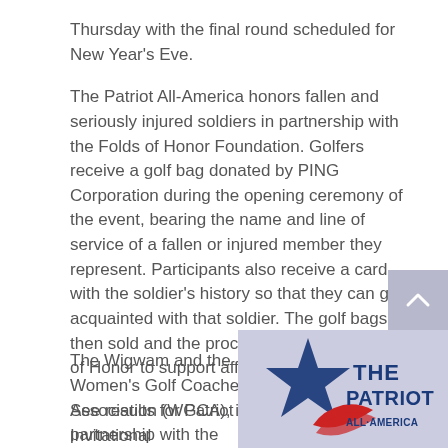Thursday with the final round scheduled for New Year's Eve.
The Patriot All-America honors fallen and seriously injured soldiers in partnership with the Folds of Honor Foundation. Golfers receive a golf bag donated by PING Corporation during the opening ceremony of the event, bearing the name and line of service of a fallen or injured member they represent. Participants also receive a card with the soldier's history so that they can get acquainted with that soldier. The golf bags are then sold and the proceeds donated to Folds of Honor to support affected families.
See results for Patriot All-America Women's Invitational
ABOUT Patriot All-America Women's Invitational
The Wigwam and the Women's Golf Coaches Association (WGCA), in partnership with the
[Figure (logo): The Patriot All-America logo with a star and red/blue stripes]